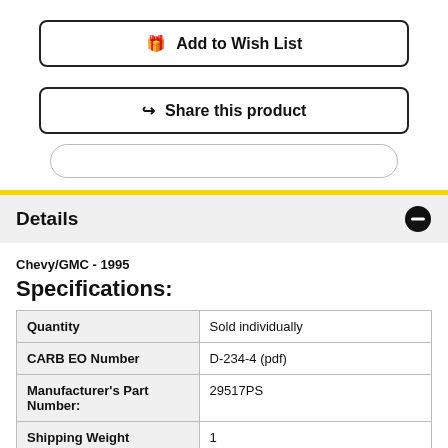🎁 Add to Wish List
↪ Share this product
Chevy/GMC - 1995
Details
Specifications:
| Quantity | Sold individually |
| --- | --- |
| Quantity | Sold individually |
| CARB EO Number | D-234-4 (pdf) |
| Manufacturer's Part Number: | 29517PS |
| Shipping Weight | 1 |